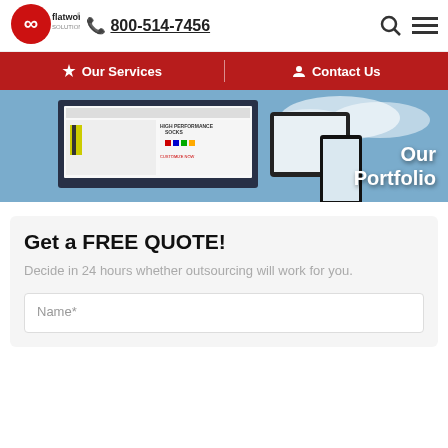[Figure (logo): Flatworld Solutions logo with infinity symbol in red and white, company name in dark text]
800-514-7456
[Figure (infographic): Navigation bar with Our Services and Contact Us items on red background]
[Figure (screenshot): Hero banner showing desktop and mobile devices displaying a High Performance Socks website with Our Portfolio text overlay on blue sky background]
Get a FREE QUOTE!
Decide in 24 hours whether outsourcing will work for you.
Name*